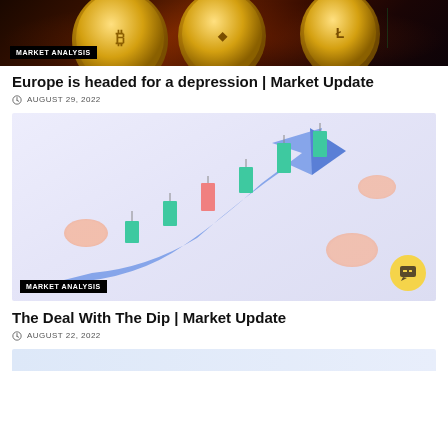[Figure (photo): Cryptocurrency gold coins (Bitcoin, Ethereum, Litecoin) on dark red background with MARKET ANALYSIS badge]
Europe is headed for a depression | Market Update
AUGUST 29, 2022
[Figure (illustration): 3D illustration of candlestick chart with rising blue arrow, teal and pink candlesticks, and gold coins on light purple background, with MARKET ANALYSIS badge and chat button]
The Deal With The Dip | Market Update
AUGUST 22, 2022
[Figure (illustration): Bottom strip of another article image (light blue/purple background, partially visible)]